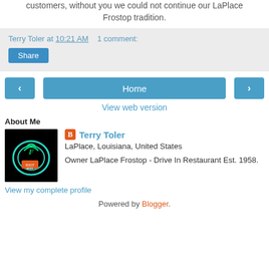customers, without you we could not continue our LaPlace Frostop tradition.
Terry Toler at 10:21 AM    1 comment:
Share
Home
View web version
About Me
[Figure (photo): Profile photo showing a neon sign for Frostop Root Beer drive-in restaurant on black background]
Terry Toler
LaPlace, Louisiana, United States
Owner LaPlace Frostop - Drive In Restaurant Est. 1958.
View my complete profile
Powered by Blogger.